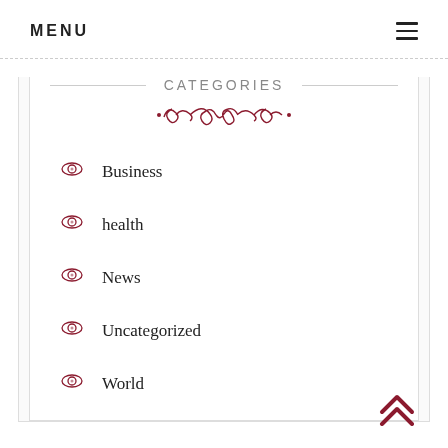MENU
CATEGORIES
Business
health
News
Uncategorized
World